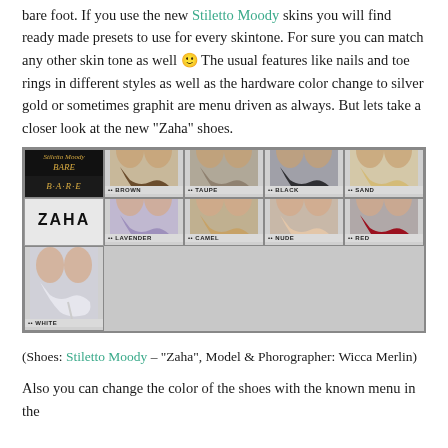bare foot. If you use the new Stiletto Moody skins you will find ready made presets to use for every skintone. For sure you can match any other skin tone as well 🙂 The usual features like nails and toe rings in different styles as well as the hardware color change to silver gold or sometimes graphit are menu driven as always. But lets take a closer look at the new "Zaha" shoes.
[Figure (photo): Grid image showing Stiletto Moody BARE Zaha shoes in multiple colors: Brown, Taupe, Black, Sand (top row) and Lavender, Camel, Nude, Red, White (bottom row), with logo and ZAHA label in first cells.]
(Shoes: Stiletto Moody – "Zaha", Model & Phorographer: Wicca Merlin)
Also you can change the color of the shoes with the known menu in the